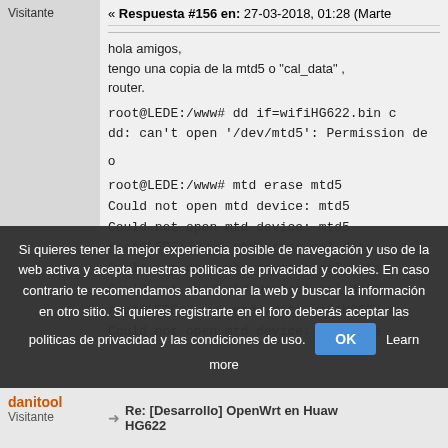Visitante
« Respuesta #156 en: 27-03-2018, 01:28 (Marte
hola amigos,
tengo una copia de la mtd5 o "cal_data" ,
router.
root@LEDE:/www# dd if=wifiHG622.bin c
dd: can't open '/dev/mtd5': Permission de
o
root@LEDE:/www# mtd erase mtd5
Could not open mtd device: mtd5
Could not open mtd device: mtd5
root@LEDE:/www# mtd erase cal_data
Could not open mtd device: cal_data
Could not open mtd device: cal_data
root@LEDE:/www# mtd write wifiHG622.b
Could not open mtd device: cal_data
Si quieres tener la mejor experiencia posible de navegación y uso de la web activa y acepta nuestras politicas de privacidad y cookies. En caso contrario te recomendamos abandonar la web y buscar la información en otro sitio. Si quieres registrarte en el foro deberás aceptar las politicas de privacidad y las condiciones de uso.
OK
Learn more
danitool
Visitante
Re: [Desarrollo] OpenWrt en Huaw HG622